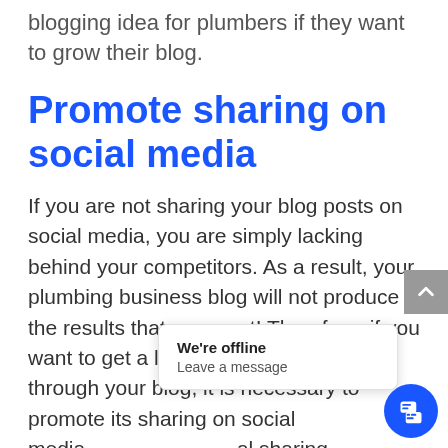blogging idea for plumbers if they want to grow their blog.
Promote sharing on social media
If you are not sharing your blog posts on social media, you are simply lacking behind your competitors. As a result, your plumbing business blog will not produce the results that you want! Therefore, if you want to get a large customer base through your blog, it is necessary to promote its sharing on social media. al sharing plugon your blog. But first, you need to
[Figure (screenshot): Chat popup widget showing 'We're offline' and 'Leave a message' text, with a blue circular chat icon in the bottom right, and a grey scroll-to-top arrow button on the right side.]